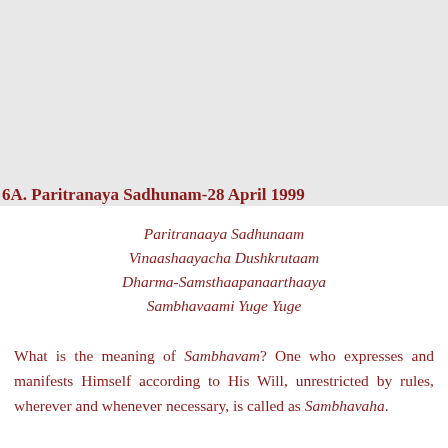6A. Paritranaya Sadhunam-28 April 1999
Paritranaaya Sadhunaam
Vinaashaayacha Dushkrutaam
Dharma-Samsthaapanaarthaaya
Sambhavaami Yuge Yuge
What is the meaning of Sambhavam? One who expresses and manifests Himself according to His Will, unrestricted by rules, wherever and whenever necessary, is called as Sambhavaha.
The Bhagavad Gita says – Whenever righteousness declines, O Arjuna, and unrighteousness rises, I